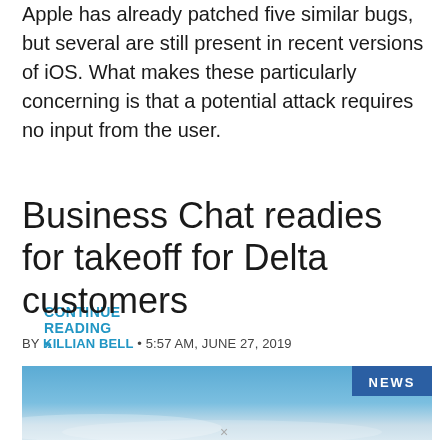Apple has already patched five similar bugs, but several are still present in recent versions of iOS. What makes these particularly concerning is that a potential attack requires no input from the user.
CONTINUE READING »
Business Chat readies for takeoff for Delta customers
BY KILLIAN BELL • 5:57 AM, JUNE 27, 2019
[Figure (photo): Blue sky image with NEWS badge in upper right corner]